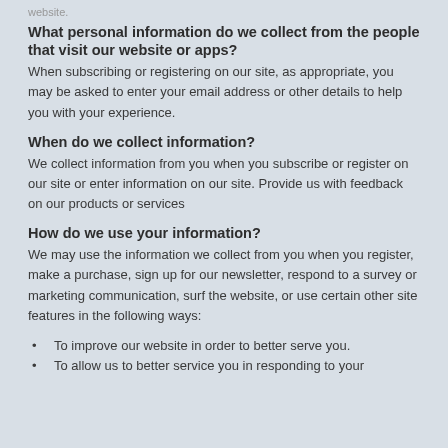website.
What personal information do we collect from the people that visit our website or apps?
When subscribing or registering on our site, as appropriate, you may be asked to enter your email address or other details to help you with your experience.
When do we collect information?
We collect information from you when you subscribe or register on our site or enter information on our site. Provide us with feedback on our products or services
How do we use your information?
We may use the information we collect from you when you register, make a purchase, sign up for our newsletter, respond to a survey or marketing communication, surf the website, or use certain other site features in the following ways:
To improve our website in order to better serve you.
To allow us to better service you in responding to your